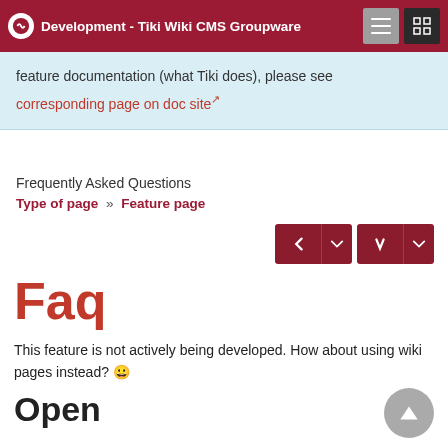Development - Tiki Wiki CMS Groupware
feature documentation (what Tiki does), please see corresponding page on doc site
Frequently Asked Questions
Type of page » Feature page
Faq
This feature is not actively being developed. How about using wiki pages instead? 😀
Open